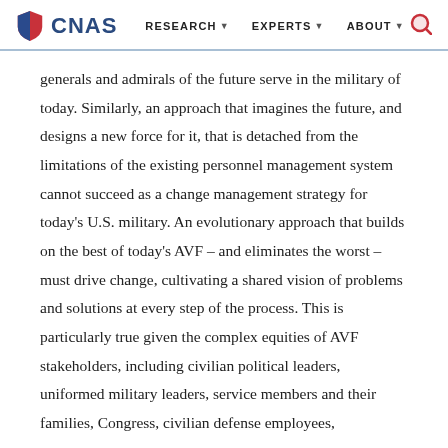CNAS | RESEARCH | EXPERTS | ABOUT
generals and admirals of the future serve in the military of today. Similarly, an approach that imagines the future, and designs a new force for it, that is detached from the limitations of the existing personnel management system cannot succeed as a change management strategy for today's U.S. military. An evolutionary approach that builds on the best of today's AVF – and eliminates the worst – must drive change, cultivating a shared vision of problems and solutions at every step of the process. This is particularly true given the complex equities of AVF stakeholders, including civilian political leaders, uniformed military leaders, service members and their families, Congress, civilian defense employees,